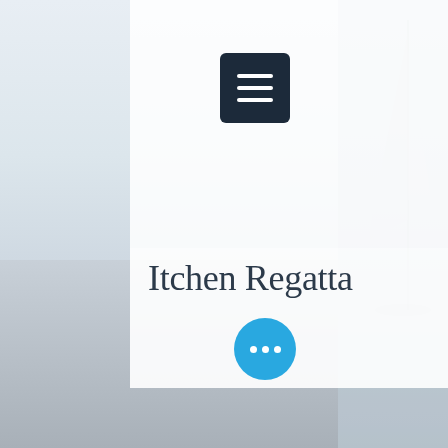[Figure (screenshot): Mobile website screenshot showing 'Itchen Regatta' page with a hamburger menu button in top right, a title 'Itchen Regatta' on a white panel, a blurred group photo of people wearing yellow shirts at a waterfront, a blue floating action button with three dots, and a sailboat in the background on the right side.]
Itchen Regatta